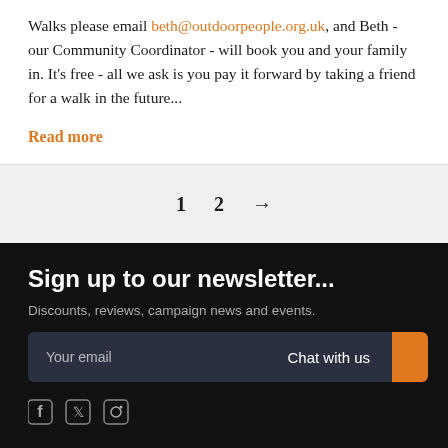Walks please email beth@outdoorpeople.org.uk, and Beth - our Community Coordinator - will book you and your family in. It's free - all we ask is you pay it forward by taking a friend for a walk in the future...
Read more
1  2  →
Sign up to our newsletter...
Discounts, reviews, campaign news and events.
Your email
Chat with us